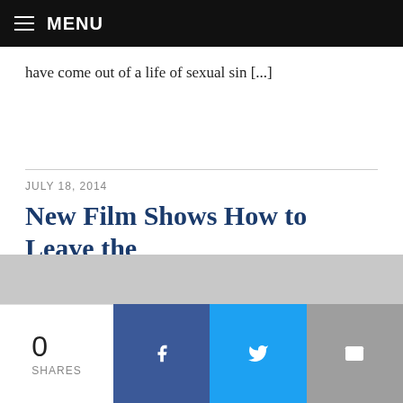MENU
have come out of a life of sexual sin [...]
JULY 18, 2014
New Film Shows How to Leave the Gay Life Behind
BY AUSTIN RUSE
The modern day LGBT movement wants you to believe that the people featured in the new documentary “Desire of
0
SHARES